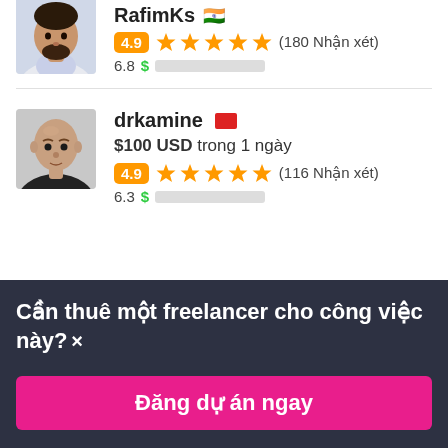[Figure (photo): Avatar photo of RafimKs, male, partial view at top]
RafimKs 🇮🇳
4.9 ★★★★★ (180 Nhận xét)
6.8 $ ████████░░░
[Figure (photo): Avatar photo of drkamine, bald male in black shirt]
drkamine 🟥
$100 USD trong 1 ngày
4.9 ★★★★★ (116 Nhận xét)
6.3 $ ███████░░░░
Cần thuê một freelancer cho công việc này? ×
Đăng dự án ngay